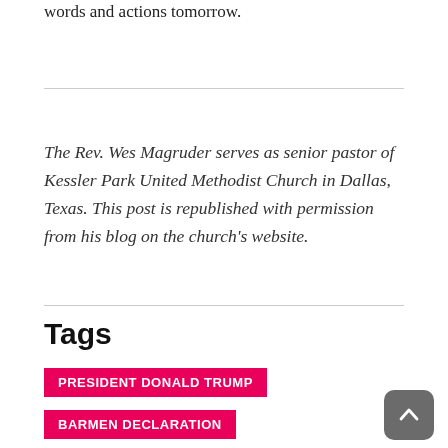words and actions tomorrow.
The Rev. Wes Magruder serves as senior pastor of Kessler Park United Methodist Church in Dallas, Texas. This post is republished with permission from his blog on the church's website.
Tags
PRESIDENT DONALD TRUMP
BARMEN DECLARATION
U.S. PRESIDENT